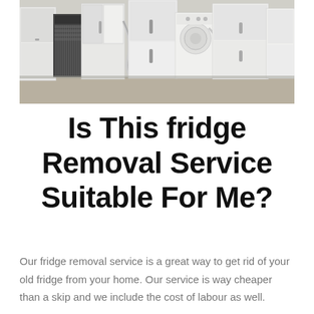[Figure (photo): A row of old white refrigerators and white goods appliances lined up outdoors on a concrete surface, viewed from the front and sides, some with doors open and cables visible.]
Is This fridge Removal Service Suitable For Me?
Our fridge removal service is a great way to get rid of your old fridge from your home. Our service is way cheaper than a skip and we include the cost of labour as well.